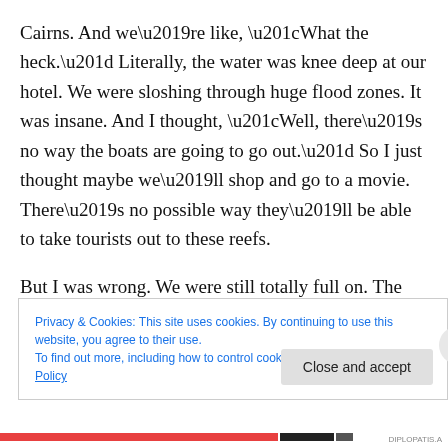Cairns. And we’re like, “What the heck.” Literally, the water was knee deep at our hotel. We were sloshing through huge flood zones. It was insane. And I thought, “Well, there’s no way the boats are going to go out.” So I just thought maybe we’ll shop and go to a movie. There’s no possible way they’ll be able to take tourists out to these reefs.
But I was wrong. We were still totally full on. The [numbers of] passengers were way lower because I think people were freaked out. So, on the plus side, we got upgraded to
Privacy & Cookies: This site uses cookies. By continuing to use this website, you agree to their use.
To find out more, including how to control cookies, see here: Cookie Policy